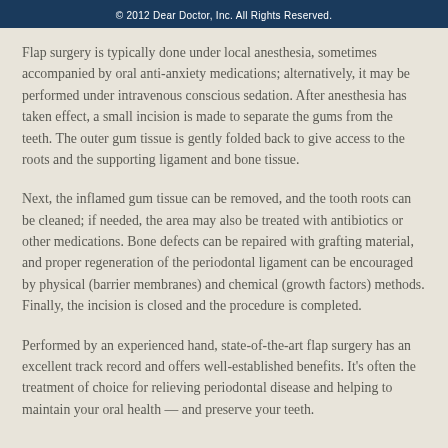© 2012 Dear Doctor, Inc. All Rights Reserved.
Flap surgery is typically done under local anesthesia, sometimes accompanied by oral anti-anxiety medications; alternatively, it may be performed under intravenous conscious sedation. After anesthesia has taken effect, a small incision is made to separate the gums from the teeth. The outer gum tissue is gently folded back to give access to the roots and the supporting ligament and bone tissue.
Next, the inflamed gum tissue can be removed, and the tooth roots can be cleaned; if needed, the area may also be treated with antibiotics or other medications. Bone defects can be repaired with grafting material, and proper regeneration of the periodontal ligament can be encouraged by physical (barrier membranes) and chemical (growth factors) methods. Finally, the incision is closed and the procedure is completed.
Performed by an experienced hand, state-of-the-art flap surgery has an excellent track record and offers well-established benefits. It's often the treatment of choice for relieving periodontal disease and helping to maintain your oral health — and preserve your teeth.